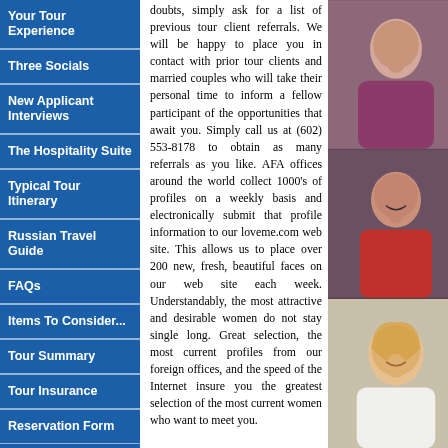Your Tour Experience
Three Socials
New Applicant Interviews
The Hospitality Suite
Typical Tour Itinerary
Russian Travel Guide
FAQs
Items To Consider...
Tour Summary
Tour Insurance
Reservation Form
doubts, simply ask for a list of previous tour client referrals. We will be happy to place you in contact with prior tour clients and married couples who will take their personal time to inform a fellow participant of the opportunities that await you. Simply call us at (602) 553-8178 to obtain as many referrals as you like. AFA offices around the world collect 1000's of profiles on a weekly basis and electronically submit that profile information to our loveme.com web site. This allows us to place over 200 new, fresh, beautiful faces on our web site each week. Understandably, the most attractive and desirable women do not stay single long. Great selection, the most current profiles from our foreign offices, and the speed of the Internet insure you the greatest selection of the most current women who want to meet you.
[Figure (photo): Woman in purple top, partial view]
[Figure (photo): Woman in red sweater, smiling]
[Figure (photo): Blonde woman in white top, smiling]